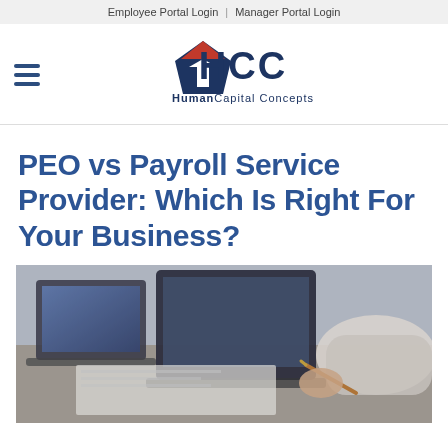Employee Portal Login | Manager Portal Login
[Figure (logo): HCC Human Capital Concepts logo with house/arrow icon in red and dark blue]
PEO vs Payroll Service Provider: Which Is Right For Your Business?
[Figure (photo): Two business professionals at a desk with a laptop, one writing with a pen, business consultation scene]